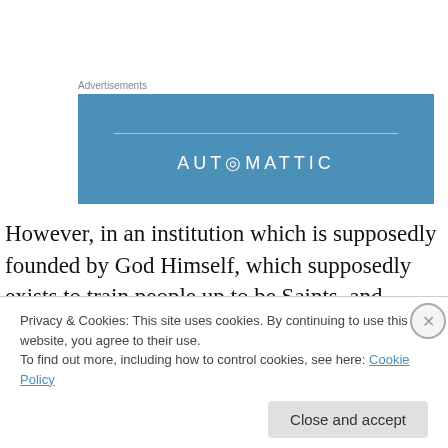Advertisements
[Figure (logo): Automattic advertisement banner with blue background and white text reading AUTOMATTIC]
However, in an institution which is supposedly founded by God Himself, which supposedly exists to train people up to be Saints, and which supposedly believes every individual is of infinite worth, shouldn't there be a Higher Standard?
Privacy & Cookies: This site uses cookies. By continuing to use this website, you agree to their use.
To find out more, including how to control cookies, see here: Cookie Policy
Close and accept